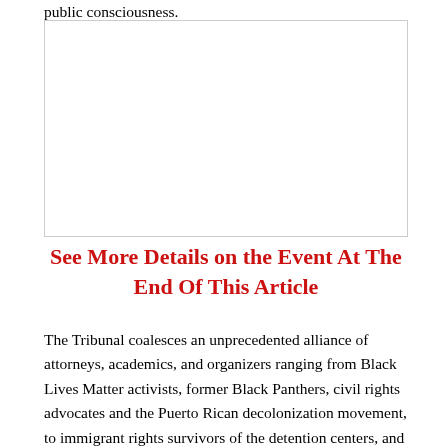public consciousness.
[Figure (photo): Image placeholder area (white/blank space in original)]
See More Details on the Event At The End Of This Article
The Tribunal coalesces an unprecedented alliance of attorneys, academics, and organizers ranging from Black Lives Matter activists, former Black Panthers, civil rights advocates and the Puerto Rican decolonization movement, to immigrant rights survivors of the detention centers, and Indigenous peoples fighting for their sovereignty, against land theft, for habitat and